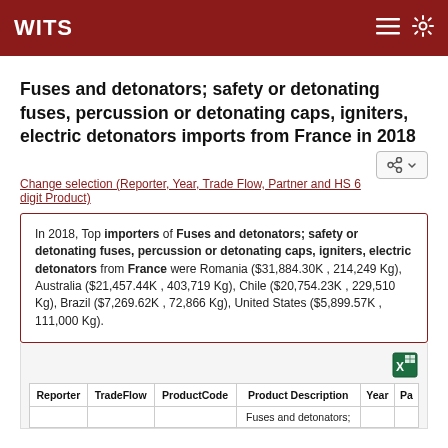WITS
Fuses and detonators; safety or detonating fuses, percussion or detonating caps, igniters, electric detonators imports from France in 2018
Change selection (Reporter, Year, Trade Flow, Partner and HS 6 digit Product)
In 2018, Top importers of Fuses and detonators; safety or detonating fuses, percussion or detonating caps, igniters, electric detonators from France were Romania ($31,884.30K , 214,249 Kg), Australia ($21,457.44K , 403,719 Kg), Chile ($20,754.23K , 229,510 Kg), Brazil ($7,269.62K , 72,866 Kg), United States ($5,899.57K , 111,000 Kg).
| Reporter | TradeFlow | ProductCode | Product Description | Year | Pa |
| --- | --- | --- | --- | --- | --- |
|  |  |  | Fuses and detonators; |  |  |